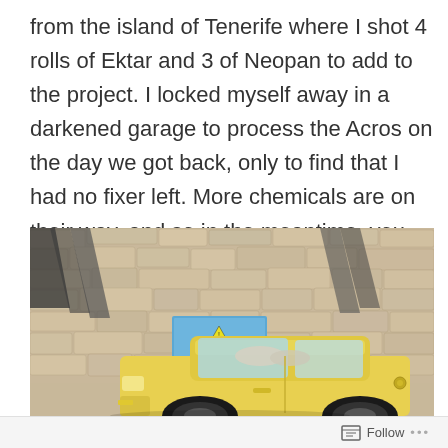from the island of Tenerife where I shot 4 rolls of Ektar and 3 of Neopan to add to the project. I locked myself away in a darkened garage to process the Acros on the day we got back, only to find that I had no fixer left. More chemicals are on their way, and so in the meantime, you get the rest of the Ektar pictures.
[Figure (photo): A yellow vintage car parked against a large rough stone wall. A blue utility box or cabinet is mounted on the wall behind the car. The photo has a warm, film-photography colour palette.]
Follow